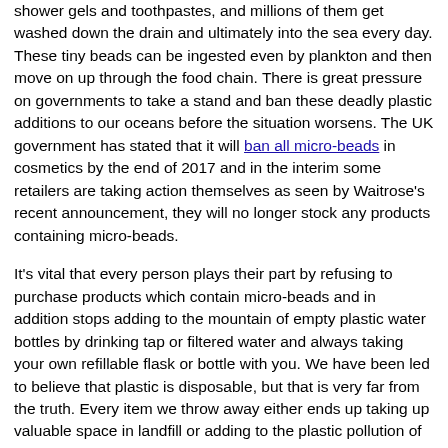shower gels and toothpastes, and millions of them get washed down the drain and ultimately into the sea every day. These tiny beads can be ingested even by plankton and then move on up through the food chain. There is great pressure on governments to take a stand and ban these deadly plastic additions to our oceans before the situation worsens. The UK government has stated that it will ban all micro-beads in cosmetics by the end of 2017 and in the interim some retailers are taking action themselves as seen by Waitrose's recent announcement, they will no longer stock any products containing micro-beads.
It's vital that every person plays their part by refusing to purchase products which contain micro-beads and in addition stops adding to the mountain of empty plastic water bottles by drinking tap or filtered water and always taking your own refillable flask or bottle with you. We have been led to believe that plastic is disposable, but that is very far from the truth. Every item we throw away either ends up taking up valuable space in landfill or adding to the plastic pollution of the sea.
Other Risks to the Environment
Plastic in our seas is a major risk to the environment but it